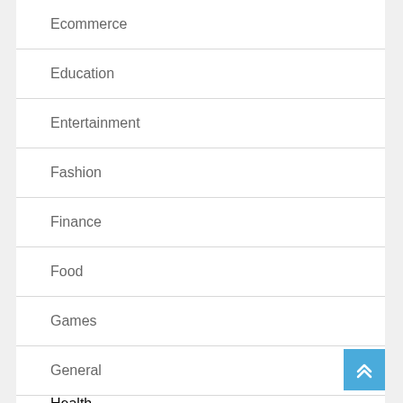Ecommerce
Education
Entertainment
Fashion
Finance
Food
Games
General
Health